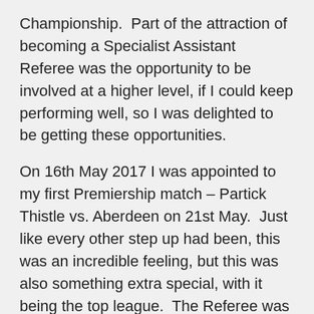Championship.  Part of the attraction of becoming a Specialist Assistant Referee was the opportunity to be involved at a higher level, if I could keep performing well, so I was delighted to be getting these opportunities.
On 16th May 2017 I was appointed to my first Premiership match – Partick Thistle vs. Aberdeen on 21st May.  Just like every other step up had been, this was an incredible feeling, but this was also something extra special, with it being the top league.  The Referee was Euan Anderson who has the perfect calm demeanour to put a nervous AR at ease.  The game went well, and over the next couple of seasons, more and more Premiership matches came my way.  The infamous coin incident happened, and if I wasn't already comfortable with the scrutiny of top-level football, I soon would be.  There were times it seemed unbelievable to be involved in some